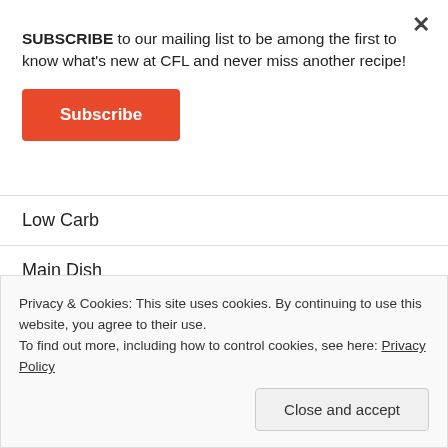SUBSCRIBE to our mailing list to be among the first to know what's new at CFL and never miss another recipe!
Subscribe
Low Carb
Main Dish
Meal Prep
Meatless
Privacy & Cookies: This site uses cookies. By continuing to use this website, you agree to their use.
To find out more, including how to control cookies, see here: Privacy Policy
Close and accept